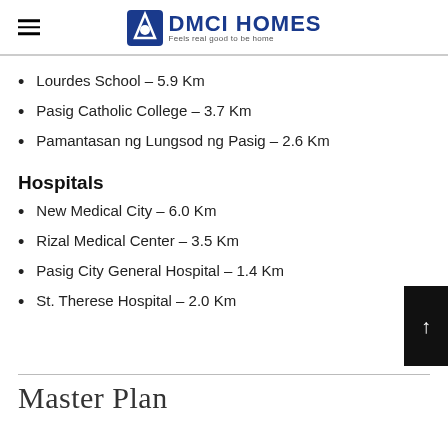DMCI HOMES — Feels real good to be home
Lourdes School – 5.9 Km
Pasig Catholic College – 3.7 Km
Pamantasan ng Lungsod ng Pasig – 2.6 Km
Hospitals
New Medical City – 6.0 Km
Rizal Medical Center – 3.5 Km
Pasig City General Hospital – 1.4 Km
St. Therese Hospital – 2.0 Km
Master Plan